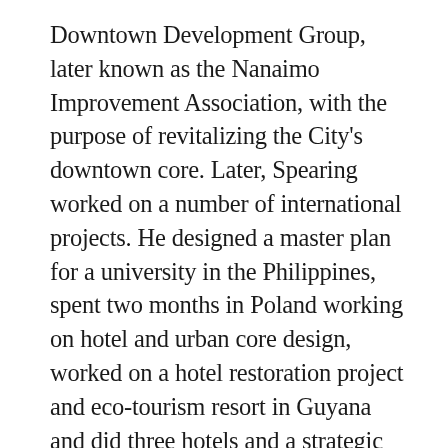Downtown Development Group, later known as the Nanaimo Improvement Association, with the purpose of revitalizing the City's downtown core. Later, Spearing worked on a number of international projects. He designed a master plan for a university in the Philippines, spent two months in Poland working on hotel and urban core design, worked on a hotel restoration project and eco-tourism resort in Guyana and did three hotels and a strategic plan for eco-tourism in Peru in 1998. In 2000, Spearing worked on a pool and gym development project in Russia and a hotel restoration project in Siberia. In 2002, he returned to the Philippines to do Master Planning work. Spearing was president of the Greater Nanaimo Chamber of Commerce, a Rotarian, and a director and vice chair of the Nanaimo Airport Commission. He was a recipient of the Heritage Canada Foundation's Lieutenant-Governor's Medal (1979), a Queen's Golden Jubilee Commemorative Medal (2003) and the City of Nanaimo's John Thomson Heritage Memorial Award (2004). Spearing married Dianne LaSota and raised